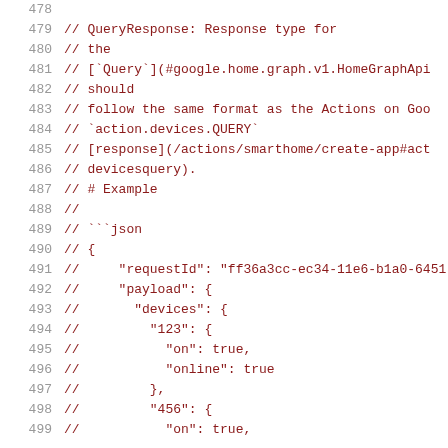Code listing lines 478–499, showing commented QueryResponse documentation and JSON example with requestId, payload, devices entries
478
479 // QueryResponse: Response type for
480 // the
481 // [`Query`](#google.home.graph.v1.HomeGraphApi
482 // should
483 // follow the same format as the Actions on Goo
484 // `action.devices.QUERY`
485 // [response](/actions/smarthome/create-app#act
486 // devicesquery).
487 // # Example
488 //
489 // ```json
490 // {
491 //     "requestId": "ff36a3cc-ec34-11e6-b1a0-6451
492 //     "payload": {
493 //       "devices": {
494 //         "123": {
495 //           "on": true,
496 //           "online": true
497 //         },
498 //         "456": {
499 //           "on": true,